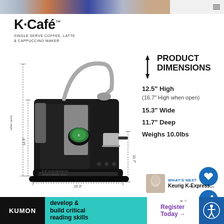Advertisement banner with product images
K·Café™ SINGLE SERVE COFFEE, LATTE & CAPPUCCINO MAKER
[Figure (photo): Keurig K-Café single serve coffee, latte and cappuccino maker in black with dimension annotations: 16.7" high when open, 12.5" high, 15.3" wide, 11.7" deep, 6.2" mug clearance when handle down]
PRODUCT DIMENSIONS
12.5" High
(16.7" High when open)
15.3" Wide
11.7" Deep
Weighs 10.0lbs
WHAT'S NEXT → Keurig K-Express...
KUMON develop & build critical reading skills | Register Today →